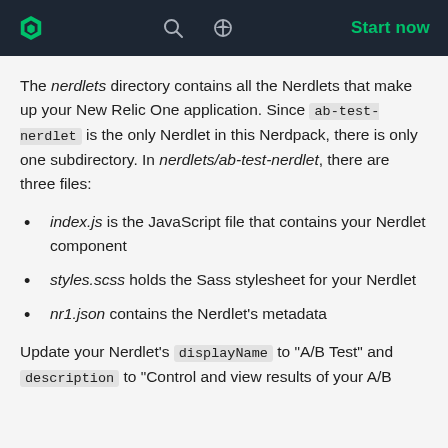New Relic navigation bar with logo, search, theme toggle, and Start now link
The nerdlets directory contains all the Nerdlets that make up your New Relic One application. Since ab-test-nerdlet is the only Nerdlet in this Nerdpack, there is only one subdirectory. In nerdlets/ab-test-nerdlet, there are three files:
index.js is the JavaScript file that contains your Nerdlet component
styles.scss holds the Sass stylesheet for your Nerdlet
nr1.json contains the Nerdlet's metadata
Update your Nerdlet's displayName to "A/B Test" and description to "Control and view results of your A/B